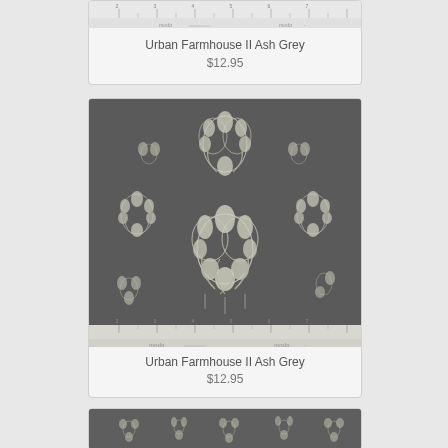[Figure (photo): Top partial product card showing ruler strip with Moda branding at top, partial fabric swatch of Urban Farmhouse II Ash Grey]
Urban Farmhouse II Ash Grey
$12.95
[Figure (photo): Product card showing dark grey floral fabric swatch (Urban Farmhouse II Ash Grey) with white floral bouquet pattern, ruler strip with Moda branding at bottom]
Urban Farmhouse II Ash Grey
$12.95
[Figure (photo): Partial bottom product card showing dark grey fabric with small floral pattern, partially visible]